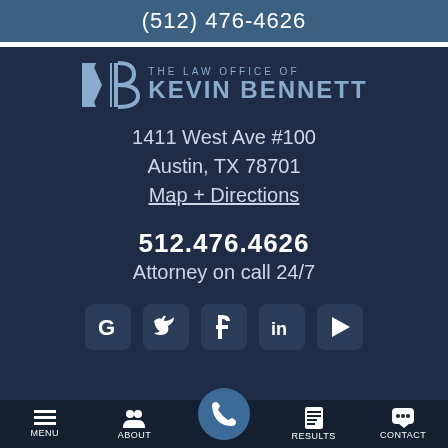(512) 476-4626
[Figure (logo): KB logo with text: THE LAW OFFICE OF KEVIN BENNETT]
1411 West Ave #100
Austin, TX 78701
Map + Directions
512.476.4626
Attorney on call 24/7
[Figure (infographic): Social media icons row: Google, Twitter, Facebook, LinkedIn, YouTube]
MENU   ABOUT   [call button]   RESULTS   CONTACT